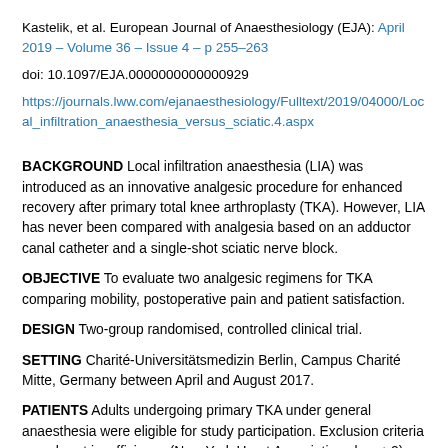Kastelik, et al. European Journal of Anaesthesiology (EJA): April 2019 – Volume 36 – Issue 4 – p 255–263
doi: 10.1097/EJA.0000000000000929
https://journals.lww.com/ejanaesthesiology/Fulltext/2019/04000/Local_infiltration_anaesthesia_versus_sciatic.4.aspx
BACKGROUND Local infiltration anaesthesia (LIA) was introduced as an innovative analgesic procedure for enhanced recovery after primary total knee arthroplasty (TKA). However, LIA has never been compared with analgesia based on an adductor canal catheter and a single-shot sciatic nerve block.
OBJECTIVE To evaluate two analgesic regimens for TKA comparing mobility, postoperative pain and patient satisfaction.
DESIGN Two-group randomised, controlled clinical trial.
SETTING Charité-Universitätsmedizin Berlin, Campus Charité Mitte, Germany between April and August 2017.
PATIENTS Adults undergoing primary TKA under general anaesthesia were eligible for study participation. Exclusion criteria were heart insufficiency (New York Heart Association class >2), liver insufficiency, diabetes, renal impairment or a history of allergy to local anaesthetics.